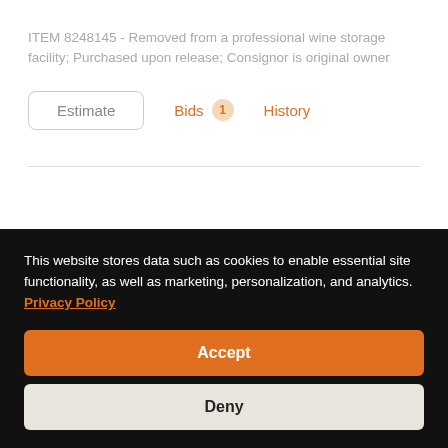ITEM 8248145 - Removed from a professional wine storage facility; Purchased upon release; Consignor is original owner
Estimate   Bids 1   History
This website stores data such as cookies to enable essential site functionality, as well as marketing, personalization, and analytics. Privacy Policy
Accept
Deny